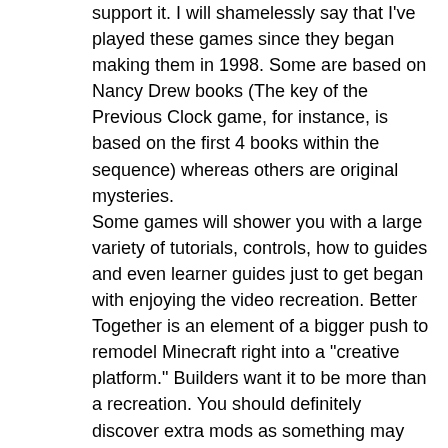support it. I will shamelessly say that I've played these games since they began making them in 1998. Some are based on Nancy Drew books (The key of the Previous Clock game, for instance, is based on the first 4 books within the sequence) whereas others are original mysteries.
Some games will shower you with a large variety of tutorials, controls, how to guides and even learner guides just to get began with enjoying the video recreation. Better Together is an element of a bigger push to remodel Minecraft right into a "creative platform." Builders want it to be more than a recreation. You should definitely discover extra mods as something may catch your fancy. If you're among those desperate for an extra flare or spark within the wildlife of your world, then keep reading and you simply may spot the mod you didn't know you wished. You know your means around the web. Again Did you know that you would be able to obtain handheld video games now? Even on NVIDIA's Shield devices, a few of the largest releases are easy conversions of older Computer video games like Portal. That is what MMOs are doing to the sharks of the world. Xwcb Craft a brutal strain, name it after yourself and watch the world crumble beneath your microscopic fist.
RL Craft may be dubbed as the Darkish Souls of Minecraft.
Animal Bikes permits you to craft. Not solely does this enable